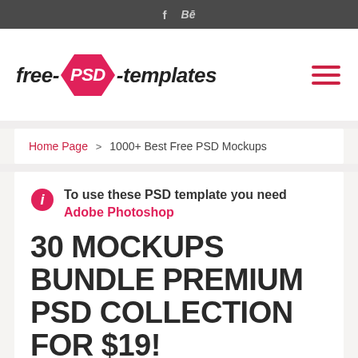f  Bē
[Figure (logo): free-PSD-templates logo with pink hexagon containing PSD text, and hamburger menu icon on the right]
Home Page > 1000+ Best Free PSD Mockups
To use these PSD template you need Adobe Photoshop
30 MOCKUPS BUNDLE PREMIUM PSD COLLECTION FOR $19!